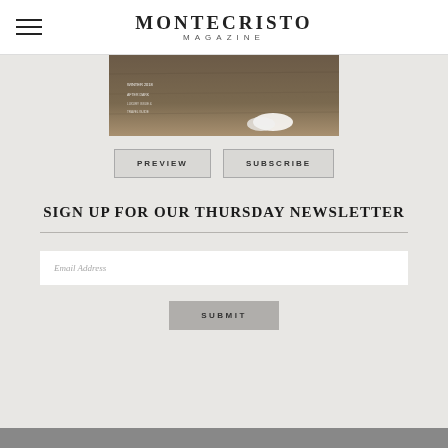MONTECRISTO MAGAZINE
[Figure (photo): Partial view of a Montecristo Magazine cover showing a person's feet in white shoes on a wooden floor, with some cover text visible]
PREVIEW
SUBSCRIBE
SIGN UP FOR OUR THURSDAY NEWSLETTER
Email Address
SUBMIT